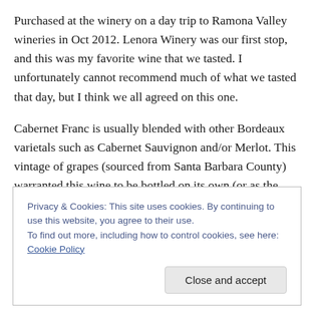Purchased at the winery on a day trip to Ramona Valley wineries in Oct 2012. Lenora Winery was our first stop, and this was my favorite wine that we tasted. I unfortunately cannot recommend much of what we tasted that day, but I think we all agreed on this one.
Cabernet Franc is usually blended with other Bordeaux varietals such as Cabernet Sauvignon and/or Merlot. This vintage of grapes (sourced from Santa Barbara County) warranted this wine to be bottled on its own (or as the primary varietal).
Privacy & Cookies: This site uses cookies. By continuing to use this website, you agree to their use. To find out more, including how to control cookies, see here: Cookie Policy